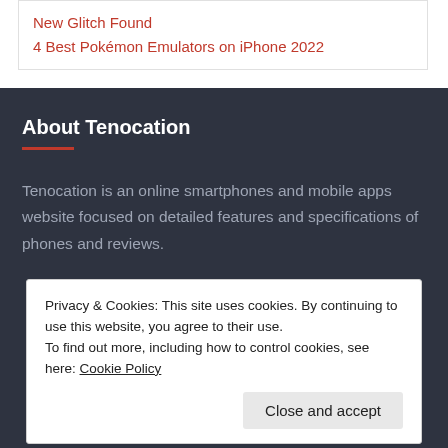New Glitch Found
4 Best Pokémon Emulators on iPhone 2022
About Tenocation
Tenocation is an online smartphones and mobile apps website focused on detailed features and specifications of phones and reviews.
Privacy & Cookies: This site uses cookies. By continuing to use this website, you agree to their use.
To find out more, including how to control cookies, see here: Cookie Policy